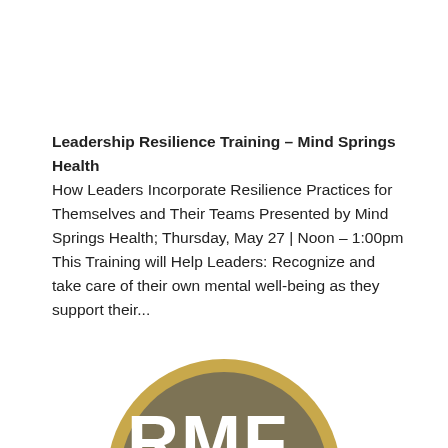Leadership Resilience Training – Mind Springs Health
How Leaders Incorporate Resilience Practices for Themselves and Their Teams Presented by Mind Springs Health; Thursday, May 27 | Noon – 1:00pm This Training will Help Leaders: Recognize and take care of their own mental well-being as they support their...
[Figure (logo): Circular logo with tan/gold and olive/brown colors showing letters 'RMF' in white]